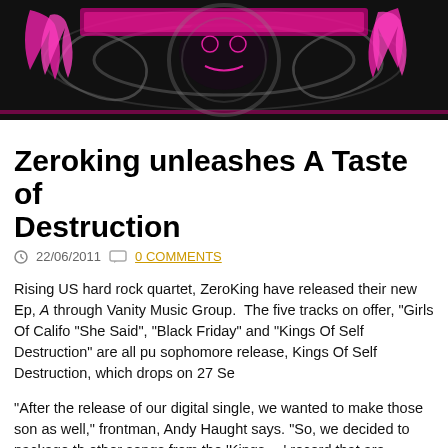[Figure (illustration): Banner graphic with pink and black design featuring stylized text/logo and decorative swirl elements, pink feather or flame motifs on dark background]
Zeroking unleashes A Taste of Destruction
22/06/2011   0 COMMENTS
Rising US hard rock quartet, ZeroKing have released their new Ep, A through Vanity Music Group.  The five tracks on offer, "Girls Of Califo "She Said", "Black Friday" and "Kings Of Self Destruction" are all pu sophomore release, Kings Of Self Destruction, which drops on 27 Se
"After the release of our digital single, we wanted to make those son as well," frontman, Andy Haught says. "So, we decided to package th other songs from the 'Kings …' record that are staples in our live set was to make all 5 songs available online as either single tracks or as EP. We feel this is a great way to get these songs out quickly to our f up the release details for "KOSD" and help spread our name and mu fanbase and the anticipation for the full length CD."
Formed in Huntington, West Virginia in early 2005, the band has sha